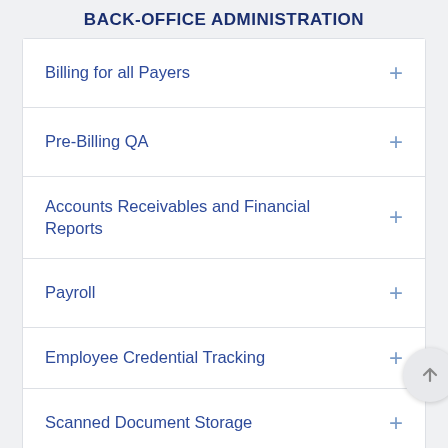BACK-OFFICE ADMINISTRATION
Billing for all Payers
Pre-Billing QA
Accounts Receivables and Financial Reports
Payroll
Employee Credential Tracking
Scanned Document Storage